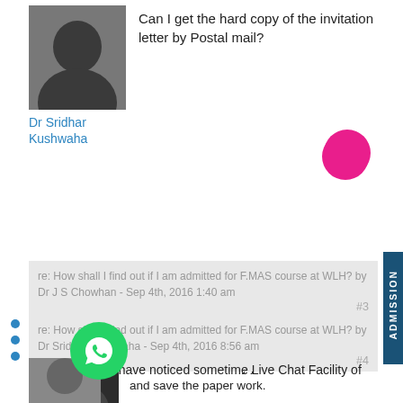Can I get the hard copy of the invitation letter by Postal mail?
Dr Sridhar Kushwaha
re: How shall I find out if I am admitted for F.MAS course at WLH? by Dr J S Chowhan - Sep 4th, 2016 1:40 am
#3
You can get it by postal mail on request. Generally we send the invitation letter by email attachment only just to save the time and save the paper work.
Dr J S Chowhan
re: How shall I find out if I am admitted for F.MAS course at WLH? by Dr Sridhar Kushwaha - Sep 4th, 2016 8:56 am
#4
I have noticed sometime Live Chat Facility of